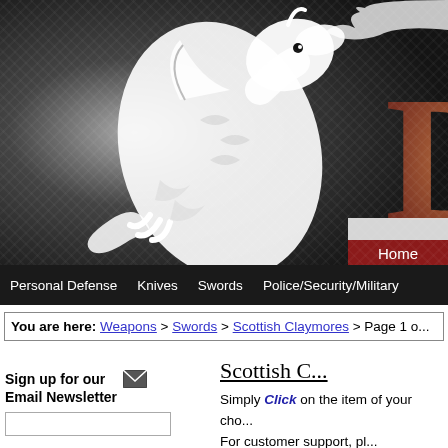[Figure (illustration): Website header banner with a white dragon illustration on a dark textured diamond-plate background. A partial copper/bronze decorative letter visible on the right side. A dark red 'Home' navigation button visible at the bottom right.]
Personal Defense   Knives   Swords   Police/Security/Military
You are here: Weapons > Swords > Scottish Claymores > Page 1 o...
Scottish C...
Sign up for our Email Newsletter
Simply Click on the item of your cho... For customer support, pl...